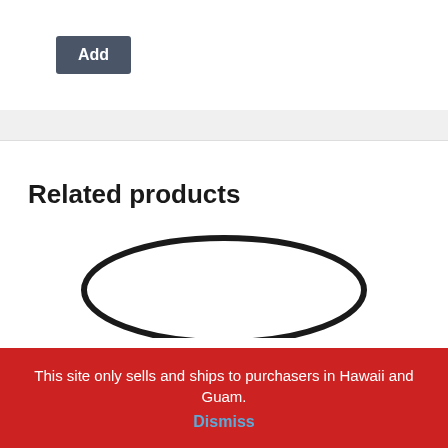Add
Related products
[Figure (illustration): A large black ellipse/oval outline centered horizontally in the related products section]
This site only sells and ships to purchasers in Hawaii and Guam.
Dismiss